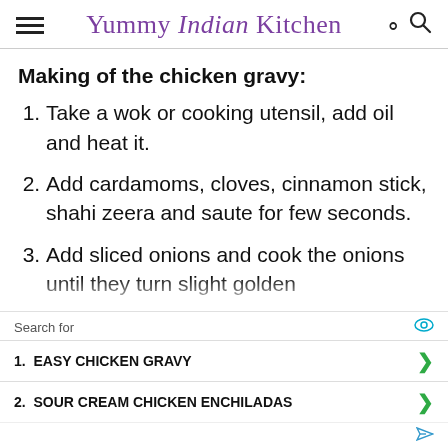Yummy Indian Kitchen
Making of the chicken gravy:
Take a wok or cooking utensil, add oil and heat it.
Add cardamoms, cloves, cinnamon stick, shahi zeera and saute for few seconds.
Add sliced onions and cook the onions until they turn slight golden
Search for
1. EASY CHICKEN GRAVY
2. SOUR CREAM CHICKEN ENCHILADAS